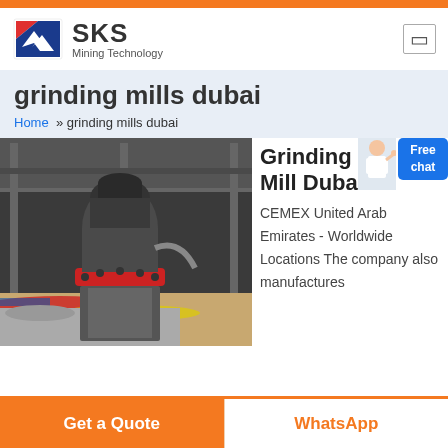[Figure (logo): SKS Mining Technology logo with red and blue icon]
grinding mills dubai
Home » grinding mills dubai
[Figure (photo): Industrial grinding mill machine in a factory setting with colorful floor markings]
Grinding Mill Dubai
CEMEX United Arab Emirates - Worldwide Locations The company also manufactures
Get a Quote
WhatsApp